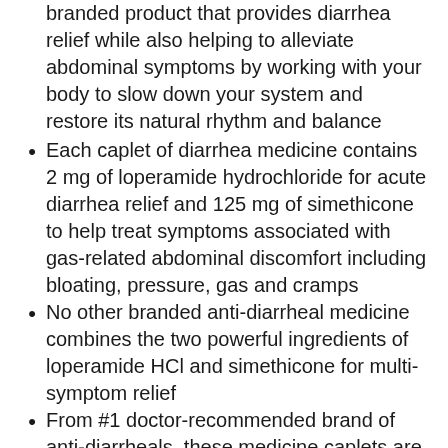branded product that provides diarrhea relief while also helping to alleviate abdominal symptoms by working with your body to slow down your system and restore its natural rhythm and balance
Each caplet of diarrhea medicine contains 2 mg of loperamide hydrochloride for acute diarrhea relief and 125 mg of simethicone to help treat symptoms associated with gas-related abdominal discomfort including bloating, pressure, gas and cramps
No other branded anti-diarrheal medicine combines the two powerful ingredients of loperamide HCl and simethicone for multi-symptom relief
From #1 doctor-recommended brand of anti-diarrheals, these medicine caplets are suitable for use by adults and children ages 12 and older for effective diarrhea relief, both at home and on-the-